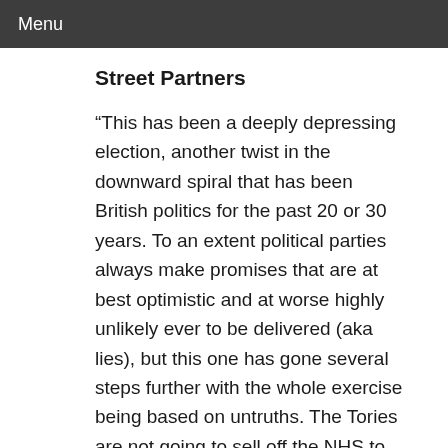Menu
Street Partners
“This has been a deeply depressing election, another twist in the downward spiral that has been British politics for the past 20 or 30 years. To an extent political parties always make promises that are at best optimistic and at worse highly unlikely ever to be delivered (aka lies), but this one has gone several steps further with the whole exercise being based on untruths. The Tories are not going to sell off the NHS to the Americans. Jo Swinson is not going to be Prime Minister. And, above all, we are not going to get Brexit done by 31 January, a whopper that will be